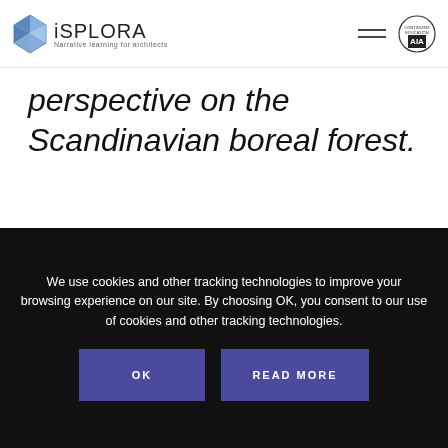iSPLORA – Narrative learning for architects
perspective on the Scandinavian boreal forest.
[Figure (photo): Sky with overcast clouds, light blue-grey tones, top portion of a landscape photo]
We use cookies and other tracking technologies to improve your browsing experience on our site. By choosing OK, you consent to our use of cookies and other tracking technologies.
OK
READ MORE